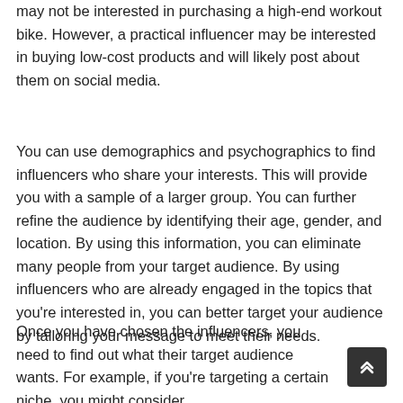may not be interested in purchasing a high-end workout bike. However, a practical influencer may be interested in buying low-cost products and will likely post about them on social media.
You can use demographics and psychographics to find influencers who share your interests. This will provide you with a sample of a larger group. You can further refine the audience by identifying their age, gender, and location. By using this information, you can eliminate many people from your target audience. By using influencers who are already engaged in the topics that you're interested in, you can better target your audience by tailoring your message to meet their needs.
Once you have chosen the influencers, you need to find out what their target audience wants. For example, if you're targeting a certain niche, you might consider